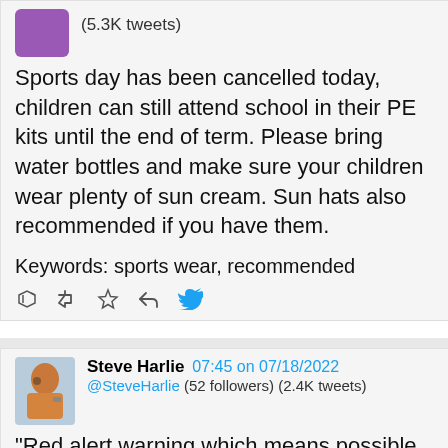(5.3K tweets)
Sports day has been cancelled today, children can still attend school in their PE kits until the end of term. Please bring water bottles and make sure your children wear plenty of sun cream. Sun hats also recommended if you have them.
Keywords: sports wear, recommended
[Figure (screenshot): Tweet action icons: retweet, star/favorite, reply, Twitter bird]
Steve Harlie  07:45 on 07/18/2022  @SteveHarlie (52 followers) (2.4K tweets)
“Red alert warning which means possible loss of life” so kids can wear sports kit as long as they go to school. #r4today